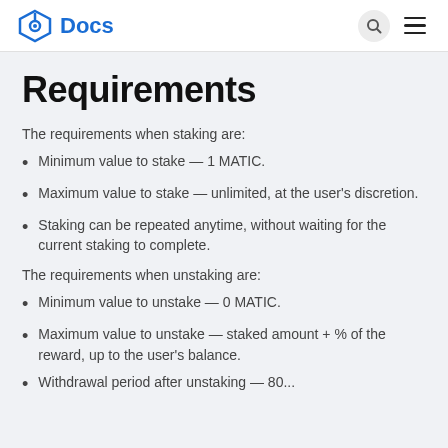Docs
Requirements
The requirements when staking are:
Minimum value to stake — 1 MATIC.
Maximum value to stake — unlimited, at the user's discretion.
Staking can be repeated anytime, without waiting for the current staking to complete.
The requirements when unstaking are:
Minimum value to unstake — 0 MATIC.
Maximum value to unstake — staked amount + % of the reward, up to the user's balance.
Withdrawal period after unstaking — 80...